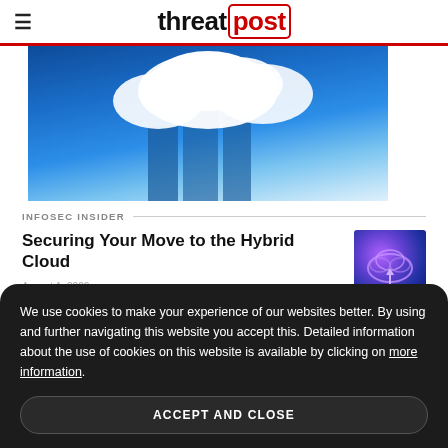threat post
[Figure (photo): Hero image of clouds over blue sky with white fluffy clouds]
INFOSEC INSIDER
Securing Your Move to the Hybrid Cloud
[Figure (photo): Thumbnail image of glowing purple cloud icon on dark blue background]
August 1, 2022
We use cookies to make your experience of our websites better. By using and further navigating this website you accept this. Detailed information about the use of cookies on this website is available by clicking on more information.
ACCEPT AND CLOSE